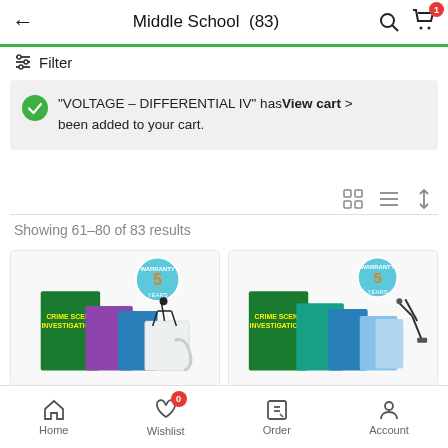Middle School (83)
Filter
"VOLTAGE – DIFFERENTIAL IV" has been added to your cart. View cart >
Showing 61–80 of 83 results
[Figure (screenshot): Product card 1: Crime Scene Investigations kit with 5-year warranty badge]
[Figure (screenshot): Product card 2: Crime Scene Investigations kit with 5-year warranty badge]
Home  Wishlist 0  Order  Account